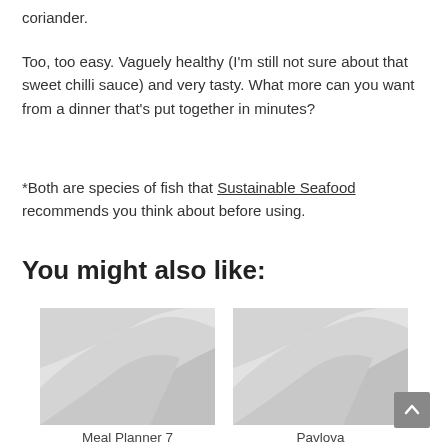coriander.
Too, too easy. Vaguely healthy (I'm still not sure about that sweet chilli sauce) and very tasty. What more can you want from a dinner that's put together in minutes?
*Both are species of fish that Sustainable Seafood recommends you think about before using.
You might also like:
[Figure (photo): Placeholder image for Meal Planner 7 — light grey background with swooping white curved shapes]
Meal Planner 7
[Figure (photo): Placeholder image for Pavlova — light grey background with swooping white curved shapes]
Pavlova